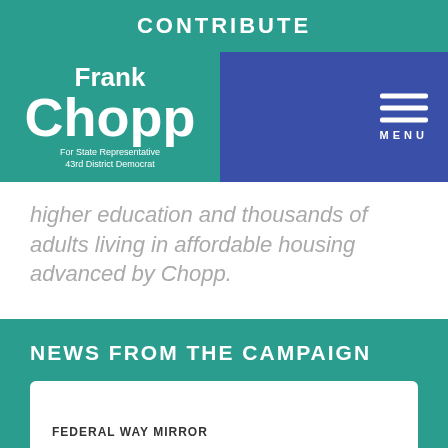CONTRIBUTE
[Figure (logo): Frank Chopp campaign logo — white text on teal background reading 'Frank Chopp / For State Representative / 43rd District Democrat']
higher education and thousands of adults living in affordable housing advanced by Chopp.
NEWS FROM THE CAMPAIGN
FEDERAL WAY MIRROR
FUSION opens first shelter for